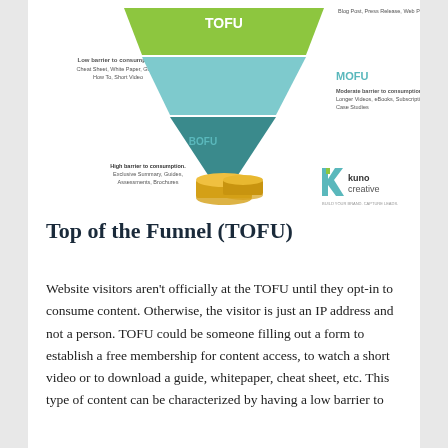[Figure (infographic): Marketing funnel diagram showing TOFU (Top of Funnel), MOFU (Middle of Funnel), and BOFU (Bottom of Funnel) stages. TOFU is at top (green) with 'Low barrier to consumption. Cheat Sheet, White Paper, Guide, How To, Short Video'. MOFU is in middle (light blue/teal) with 'Moderate barrier to consumption. Longer Videos, eBooks, Subscriptions, Case Studies'. BOFU is at bottom (dark teal) with 'High barrier to consumption. Exclusive Summary, Guides, Assessments, Brochures'. Gold coins/money stacks at bottom center. Kuno Creative logo at bottom right.]
Top of the Funnel (TOFU)
Website visitors aren't officially at the TOFU until they opt-in to consume content. Otherwise, the visitor is just an IP address and not a person. TOFU could be someone filling out a form to establish a free membership for content access, to watch a short video or to download a guide, whitepaper, cheat sheet, etc. This type of content can be characterized by having a low barrier to